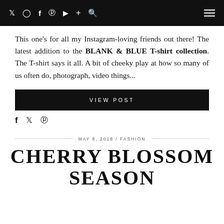Navigation bar with social icons and hamburger menu
This one's for all my Instagram-loving friends out there! The latest addition to the BLANK & BLUE T-shirt collection. The T-shirt says it all. A bit of cheeky play at how so many of us often do, photograph, video things...
VIEW POST
f  ✦  ⊕
MAY 8, 2018 / FASHION
CHERRY BLOSSOM SEASON